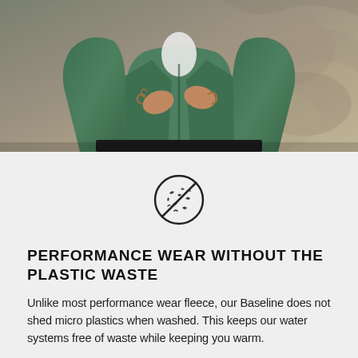[Figure (photo): Person wearing a green fleece jacket, buttoning or adjusting it, with a rocky surface in the background. Cropped to show torso and hands only.]
[Figure (illustration): A circular icon with a diagonal slash through it, containing small curved/irregular shapes representing microplastics — a 'no microplastics' symbol.]
PERFORMANCE WEAR WITHOUT THE PLASTIC WASTE
Unlike most performance wear fleece, our Baseline does not shed micro plastics when washed. This keeps our water systems free of waste while keeping you warm.